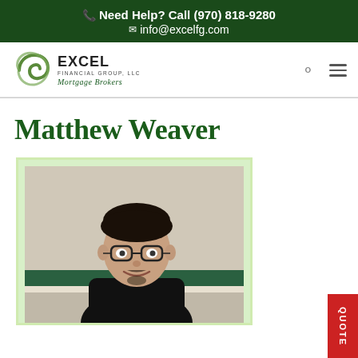Need Help? Call (970) 818-9280
info@excelfg.com
[Figure (logo): Excel Financial Group LLC Mortgage Brokers logo with green swirl icon]
Matthew Weaver
[Figure (photo): Professional headshot of Matthew Weaver, a young man with glasses and dark hair wearing a black shirt, smiling, with a light background]